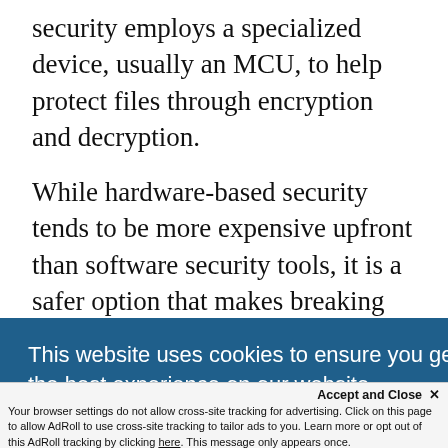security employs a specialized device, usually an MCU, to help protect files through encryption and decryption.
While hardware-based security tends to be more expensive upfront than software security tools, it is a safer option that makes breaking the security features more difficult. It is also a very hands-off solution as it typically doesn't require
This website uses cookies to ensure you get the best experience on our website. Learn More
Accept and Close ✕ Your browser settings do not allow cross-site tracking for advertising. Click on this page to allow AdRoll to use cross-site tracking to tailor ads to you. Learn more or opt out of this AdRoll tracking by clicking here. This message only appears once.